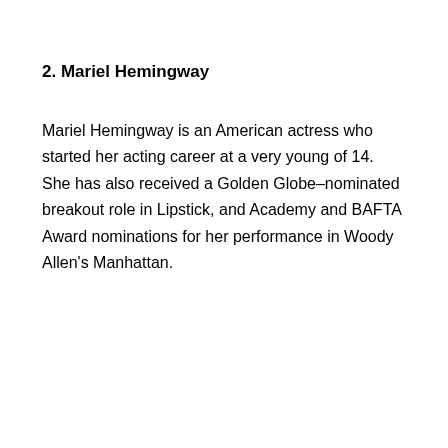2. Mariel Hemingway
Mariel Hemingway is an American actress who started her acting career at a very young of 14.  She has also received a Golden Globe–nominated breakout role in Lipstick, and Academy and BAFTA Award nominations for her performance in Woody Allen's Manhattan.